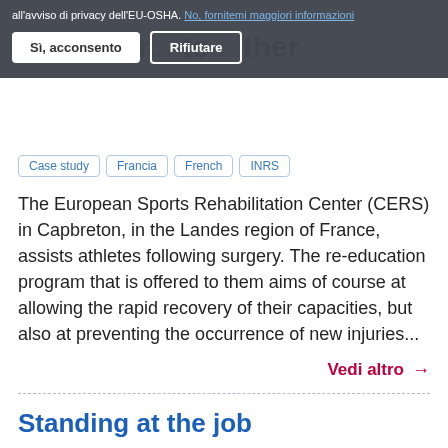all'avviso di privacy dell'EU-OSHA. No, fornitemi maggiori informazioni
Sì, acconsento | Rifiutare
One injur... to... ther
Case study | Francia | French | INRS
The European Sports Rehabilitation Center (CERS) in Capbreton, in the Landes region of France, assists athletes following surgery. The re-education program that is offered to them aims of course at allowing the rapid recovery of their capacities, but also at preventing the occurrence of new injuries...
Vedi altro →
Standing at the job
Guides & Tools | Svizzera | German
Rheumatism League Switzerland
It is the ...